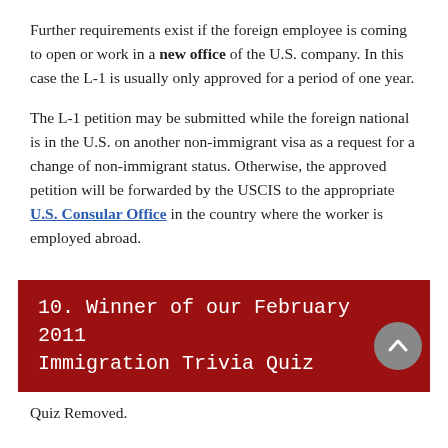Further requirements exist if the foreign employee is coming to open or work in a new office of the U.S. company. In this case the L-1 is usually only approved for a period of one year.
The L-1 petition may be submitted while the foreign national is in the U.S. on another non-immigrant visa as a request for a change of non-immigrant status. Otherwise, the approved petition will be forwarded by the USCIS to the appropriate U.S. Consular Office in the country where the worker is employed abroad.
10. Winner of our February 2011 Immigration Trivia Quiz
Quiz Removed.